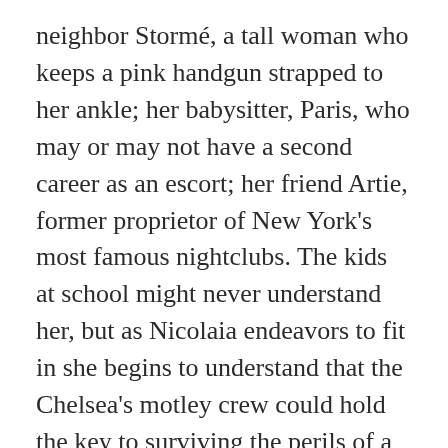neighbor Stormé, a tall woman who keeps a pink handgun strapped to her ankle; her babysitter, Paris, who may or may not have a second career as an escort; her friend Artie, former proprietor of New York's most famous nightclubs. The kids at school might never understand her, but as Nicolaia endeavors to fit in she begins to understand that the Chelsea's motley crew could hold the key to surviving the perils of a Manhattan childhood.
Not since Holden Caulfield has there been such a fabulously compelling teen guide to